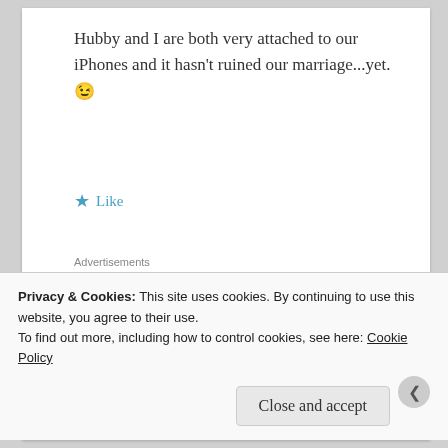Hubby and I are both very attached to our iPhones and it hasn't ruined our marriage...yet. 😉
★ Like
Advertisements
[Figure (other): Tumblr Ad-Free banner advertisement showing $39.99 a year pricing with star and sparkle graphics on blue background]
David Stewart
Privacy & Cookies: This site uses cookies. By continuing to use this website, you agree to their use.
To find out more, including how to control cookies, see here: Cookie Policy
Close and accept